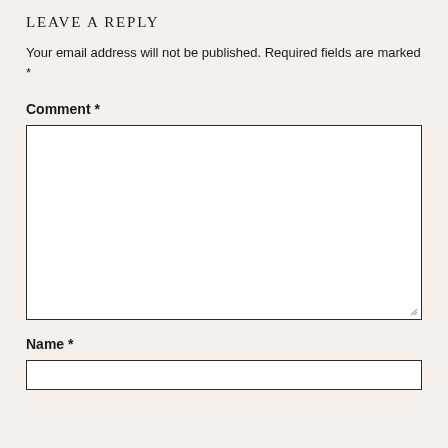LEAVE A REPLY
Your email address will not be published. Required fields are marked *
Comment *
[Figure (other): Empty comment text area input box with border and resize handle]
Name *
[Figure (other): Empty name text input box with border]